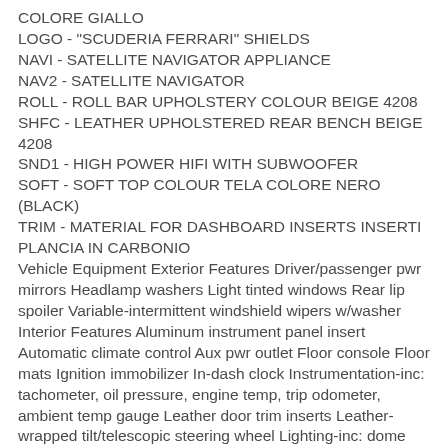COLORE GIALLO
LOGO - "SCUDERIA FERRARI" SHIELDS
NAVI - SATELLITE NAVIGATOR APPLIANCE
NAV2 - SATELLITE NAVIGATOR
ROLL - ROLL BAR UPHOLSTERY COLOUR BEIGE 4208
SHFC - LEATHER UPHOLSTERED REAR BENCH BEIGE 4208
SND1 - HIGH POWER HIFI WITH SUBWOOFER
SOFT - SOFT TOP COLOUR TELA COLORE NERO (BLACK)
TRIM - MATERIAL FOR DASHBOARD INSERTS INSERTI PLANCIA IN CARBONIO
Vehicle Equipment Exterior Features Driver/passenger pwr mirrors Headlamp washers Light tinted windows Rear lip spoiler Variable-intermittent windshield wipers w/washer Interior Features Aluminum instrument panel insert Automatic climate control Aux pwr outlet Floor console Floor mats Ignition immobilizer In-dash clock Instrumentation-inc: tachometer, oil pressure, engine temp, trip odometer, ambient temp gauge Leather door trim inserts Leather-wrapped tilt/telescopic steering wheel Lighting-inc: dome